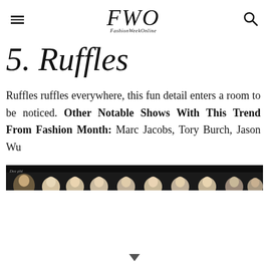FWO FashionWeekOnline
5. Ruffles
Ruffles ruffles everywhere, this fun detail enters a room to be noticed. Other Notable Shows With This Trend From Fashion Month: Marc Jacobs, Tory Burch, Jason Wu
[Figure (photo): A horizontal strip showing a row of fashion show models' heads/faces against a dark background, with a small logo/label on the left side.]